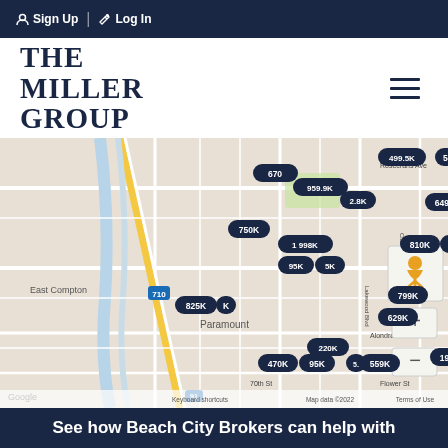Sign Up | Log In
[Figure (logo): THE MILLER GROUP real estate logo with hamburger menu icon]
[Figure (map): Google Map showing East Compton and Paramount area with property price markers: 670, 959.9K, 2.8K, 750K, 1 998K, 95K, 5K, 540, 635K, 499.5K, K, 649K, 810K, 1.2M, 0K, 530K, 2 5.5M, 799K, 629K, 825K, K, 220K, 470K, 95K, 5, 559K, 195K. Map data 2022 Google. Street labels: Rosecrans Ave, Clark Ave, Bellbrook Blvd, Lakewood Blvd, Alondra B, 70th St, Flower St. Highway markers: 710, 91.]
See how Beach City Brokers can help with